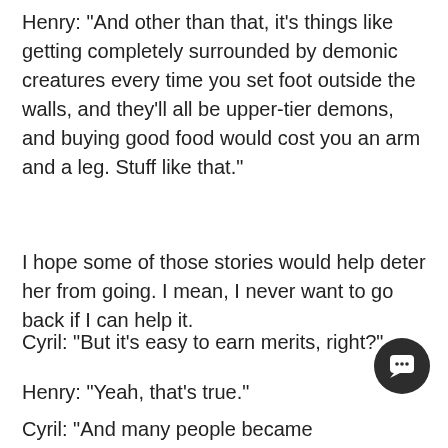Henry: “And other than that, it’s things like getting completely surrounded by demonic creatures every time you set foot outside the walls, and they’ll all be upper-tier demons, and buying good food would cost you an arm and a leg. Stuff like that.”
I hope some of those stories would help deter her from going. I mean, I never want to go back if I can help it.
Cyril: “But it’s easy to earn merits, right?”
Henry: “Yeah, that’s true.”
Cyril: “And many people became heroes there, right?”
The…